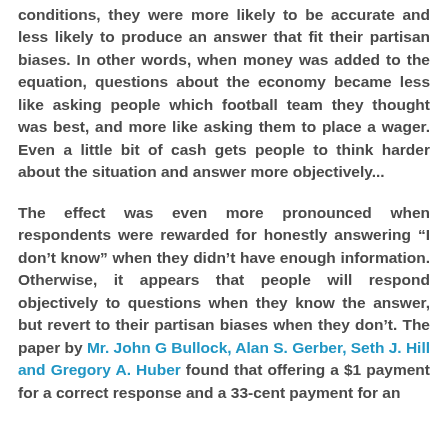conditions, they were more likely to be accurate and less likely to produce an answer that fit their partisan biases. In other words, when money was added to the equation, questions about the economy became less like asking people which football team they thought was best, and more like asking them to place a wager. Even a little bit of cash gets people to think harder about the situation and answer more objectively...
The effect was even more pronounced when respondents were rewarded for honestly answering “I don’t know” when they didn’t have enough information. Otherwise, it appears that people will respond objectively to questions when they know the answer, but revert to their partisan biases when they don’t. The paper by Mr. John G Bullock, Alan S. Gerber, Seth J. Hill and Gregory A. Huber found that offering a $1 payment for a correct response and a 33-cent payment for an